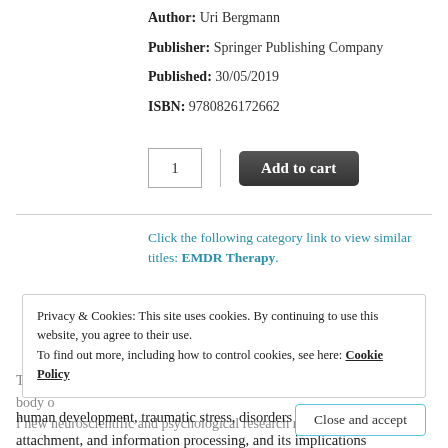Author: Uri Bergmann
Publisher: Springer Publishing Company
Published: 30/05/2019
ISBN: 9780826172662
[Figure (screenshot): Quantity input box showing '1' and an 'Add to cart' dark button]
Click the following category link to view similar titles: EMDR Therapy.
Privacy & Cookies: This site uses cookies. By continuing to use this website, you agree to their use.
To find out more, including how to control cookies, see here: Cookie Policy
Close and accept
Description
The second edition of this groundbreaking book synthesizes the latest body of new neuroscientific and psychological research related to human development, traumatic stress, disorders of attachment, and information processing, and its implications